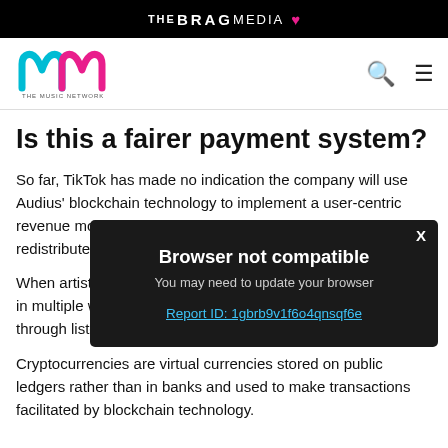THE BRAG MEDIA ♥
[Figure (logo): The Music Network logo — stylized 'mm' in cyan and pink, with text 'THE MUSIC NETWORK' below]
Is this a fairer payment system?
So far, TikTok has made no indication the company will use Audius' blockchain technology to implement a user-centric revenue model — though the hope of royalty payments being redistributed fairly is an expectation.
When artists are paid through Audius streaming, they are paid in multiple ways — via recording blockchain transactions, through listening, and cryptocurrency distributions.
[Figure (screenshot): Browser not compatible modal dialog with dark background. Title: 'Browser not compatible'. Subtitle: 'You may need to update your browser'. Link: 'Report ID: 1gbrb9v1f6o4qnsqf6e']
Cryptocurrencies are virtual currencies stored on public ledgers rather than in banks and used to make transactions facilitated by blockchain technology.